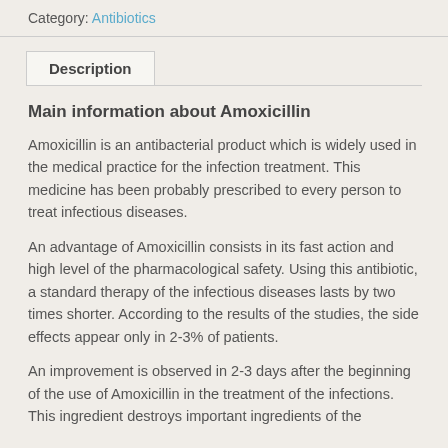Category: Antibiotics
Description
Main information about Amoxicillin
Amoxicillin is an antibacterial product which is widely used in the medical practice for the infection treatment. This medicine has been probably prescribed to every person to treat infectious diseases.
An advantage of Amoxicillin consists in its fast action and high level of the pharmacological safety. Using this antibiotic, a standard therapy of the infectious diseases lasts by two times shorter. According to the results of the studies, the side effects appear only in 2-3% of patients.
An improvement is observed in 2-3 days after the beginning of the use of Amoxicillin in the treatment of the infections. This ingredient destroys important ingredients of the